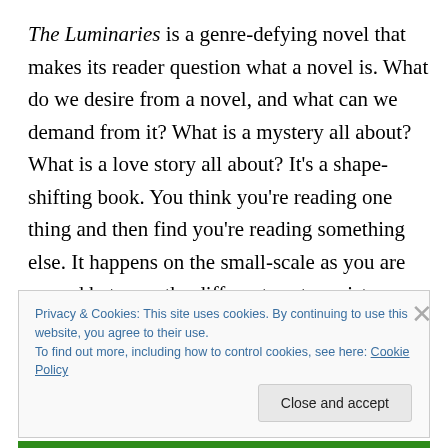The Luminaries is a genre-defying novel that makes its reader question what a novel is. What do we desire from a novel, and what can we demand from it? What is a mystery all about? What is a love story all about? It's a shape-shifting book. You think you're reading one thing and then find you're reading something else. It happens on the small-scale as you are passed between the different protagonists, getting to know things 'from all sides', and then in a brilliant post-modern stroke, Catton makes us question not just the fictional events but the very
Privacy & Cookies: This site uses cookies. By continuing to use this website, you agree to their use.
To find out more, including how to control cookies, see here: Cookie Policy
Close and accept